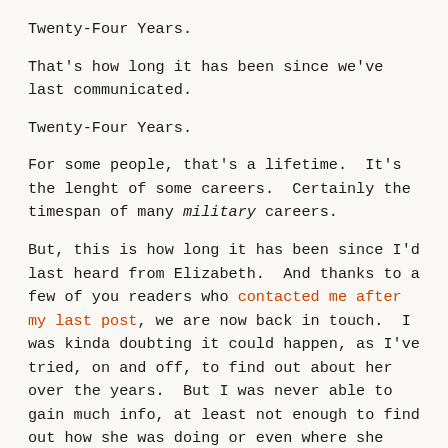Twenty-Four Years.
That's how long it has been since we've last communicated.
Twenty-Four Years.
For some people, that's a lifetime.  It's the lenght of some careers.  Certainly the timespan of many military careers.
But, this is how long it has been since I'd last heard from Elizabeth.  And thanks to a few of you readers who contacted me after my last post, we are now back in touch.  I was kinda doubting it could happen, as I've tried, on and off, to find out about her over the years.  But I was never able to gain much info, at least not enough to find out how she was doing or even where she